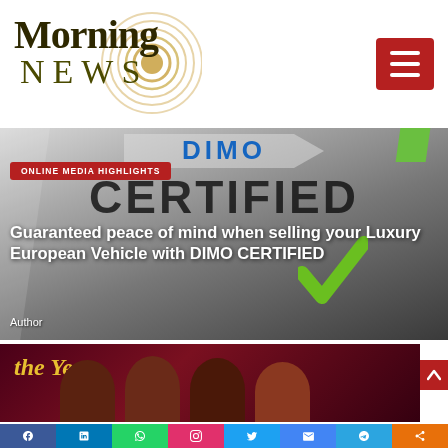Morning NEWS
[Figure (photo): DIMO Certified logo background with CERTIFIED text and green checkmark]
ONLINE MEDIA HIGHLIGHTS
Guaranteed peace of mind when selling your Luxury European Vehicle with DIMO CERTIFIED
Author
[Figure (photo): People standing at an awards event with 'the Year' text visible]
Social media share bar: Facebook, LinkedIn, WhatsApp, Instagram, Twitter, Gmail, Telegram, Share